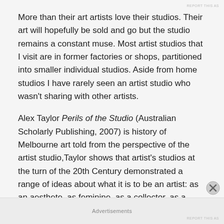REPORT THIS AS
More than their art artists love their studios. Their art will hopefully be sold and go but the studio remains a constant muse. Most artist studios that I visit are in former factories or shops, partitioned into smaller individual studios. Aside from home studios I have rarely seen an artist studio who wasn't sharing with other artists.
Alex Taylor Perils of the Studio (Australian Scholarly Publishing, 2007) is history of Melbourne art told from the perspective of the artist studio,Taylor shows that artist's studios at the turn of the 20th Century demonstrated a range of ideas about what it is to be an artist: as an aesthete, as feminine, as a collector, as a scholar and as
Advertisements
REPORT THIS AS